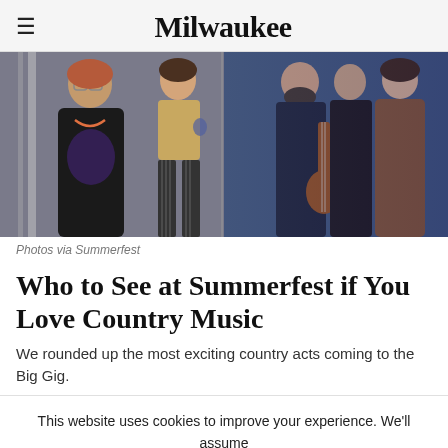Milwaukee
[Figure (photo): Two collaged band/artist photos: on the left, a woman with glasses in a graphic tee and a person in a tan shirt with striped pants; on the right, a group of musicians including a person holding a guitar, against a blue background.]
Photos via Summerfest
Who to See at Summerfest if You Love Country Music
We rounded up the most exciting country acts coming to the Big Gig.
This website uses cookies to improve your experience. We'll assume you're ok with this, but you can opt-out if you wish. Cookie settings ACCEPT